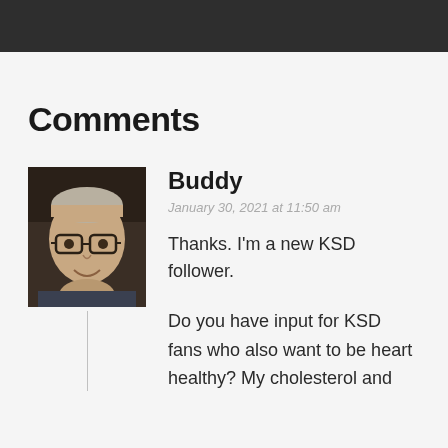[Figure (other): Dark header bar at top of page]
Comments
[Figure (photo): Profile photo of an older man with glasses and grey/blonde hair, smiling]
Buddy
January 30, 2021 at 11:50 am
Thanks. I'm a new KSD follower.
Do you have input for KSD fans who also want to be heart healthy? My cholesterol and